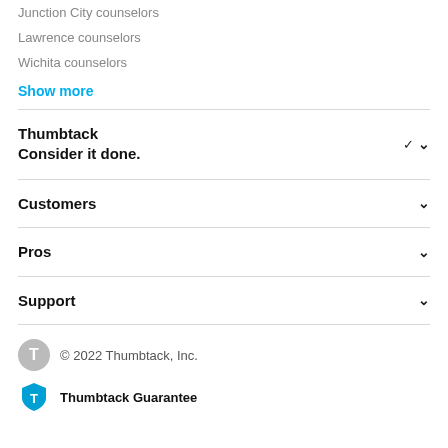Junction City counselors
Lawrence counselors
Wichita counselors
Show more
Thumbtack
Consider it done.
Customers
Pros
Support
© 2022 Thumbtack, Inc.
Thumbtack Guarantee